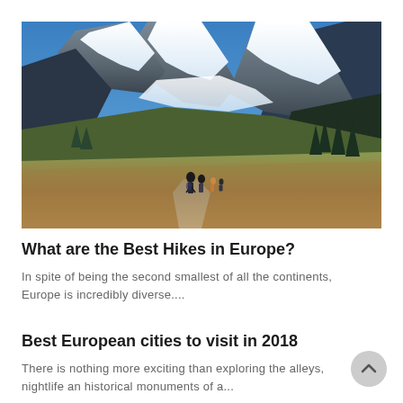[Figure (photo): Hikers walking along a mountain trail with snow-capped peaks and blue sky in the background, green and brown alpine meadow in the foreground, pine trees on the right side.]
What are the Best Hikes in Europe?
In spite of being the second smallest of all the continents, Europe is incredibly diverse....
Best European cities to visit in 2018
There is nothing more exciting than exploring the alleys, nightlife an historical monuments of a...